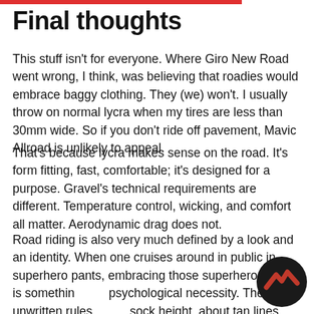Final thoughts
This stuff isn't for everyone. Where Giro New Road went wrong, I think, was believing that roadies would embrace baggy clothing. They (we) won't. I usually throw on normal lycra when my tires are less than 30mm wide. So if you don't ride off pavement, Mavic Allroad is unlikely to appeal.
That's because lycra makes sense on the road. It's form fitting, fast, comfortable; it's designed for a purpose. Gravel's technical requirements are different. Temperature control, wicking, and comfort all matter. Aerodynamic drag does not.
Road riding is also very much defined by a look and an identity. When one cruises around in public in superhero pants, embracing those superhero pants is something of a psychological necessity. There are unwritten rules about sock height, about tan lines, about shaving, rules that have no basis in anything other than showing other riders